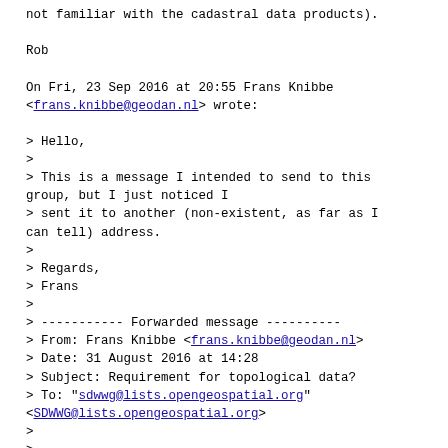not familiar with the cadastral data products).

Rob

On Fri, 23 Sep 2016 at 20:55 Frans Knibbe <frans.knibbe@geodan.nl> wrote:

> Hello,
>
> This is a message I intended to send to this group, but I just noticed I
> sent it to another (non-existent, as far as I can tell) address.
>
> Regards,
> Frans
>
> ----------- Forwarded message ----------
> From: Frans Knibbe <frans.knibbe@geodan.nl>
> Date: 31 August 2016 at 14:28
> Subject: Requirement for topological data?
> To: "sdwwg@lists.opengeospatial.org" <SDWWG@lists.opengeospatial.org>
>
>
> Hello all,
>
> In general I do not like to assign myself more work, but I do wonder if